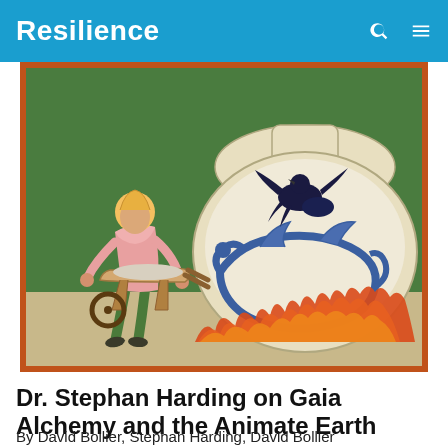Resilience
[Figure (illustration): Medieval illuminated manuscript illustration showing a figure in pink tunic and green tights pushing a wheelbarrow, next to a large alchemical flask/vessel with a blue dragon and black bird on top, surrounded by orange flames, on a green background with orange border.]
Dr. Stephan Harding on Gaia Alchemy and the Animate Earth
By David Bollier, Stephan Harding, David Bollier